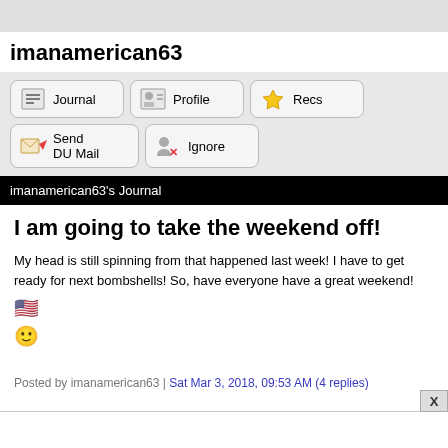imanamerican63
[Figure (screenshot): Navigation buttons: Journal, Profile, Recs, Send DU Mail, Ignore]
imanamerican63's Journal
I am going to take the weekend off!
My head is still spinning from that happened last week! I have to get ready for next bombshells! So, have everyone have a great weekend! 🇺🇸 🙂
Posted by imanamerican63 | Sat Mar 3, 2018, 09:53 AM (4 replies)